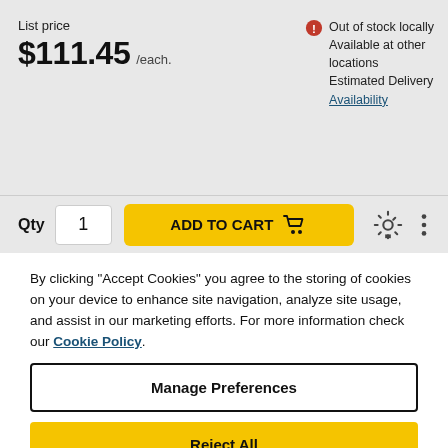List price
$111.45 /each.
Out of stock locally
Available at other locations
Estimated Delivery
Availability
Qty 1
ADD TO CART
By clicking "Accept Cookies" you agree to the storing of cookies on your device to enhance site navigation, analyze site usage, and assist in our marketing efforts. For more information check our Cookie Policy.
Manage Preferences
Reject All
Accept All Cookies